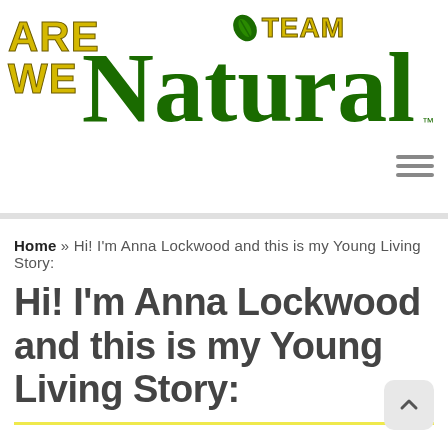[Figure (logo): We Are Team Natural logo with script green Natural text and yellow ARE/WE/TEAM bold text with a green leaf accent]
Home » Hi! I'm Anna Lockwood and this is my Young Living Story:
Hi! I'm Anna Lockwood and this is my Young Living Story: